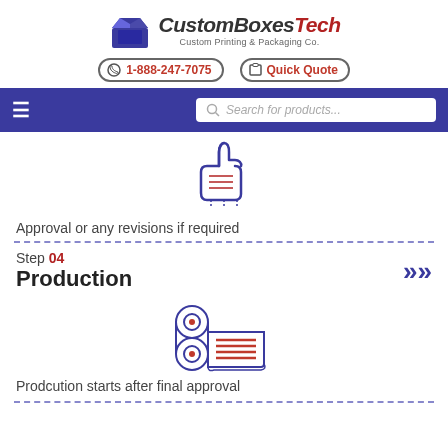[Figure (logo): CustomBoxesTech logo with blue box icon and text 'CustomBoxesTech Custom Printing & Packaging Co.']
1-888-247-7075   Quick Quote
[Figure (screenshot): Blue navigation bar with hamburger menu icon and a search box showing 'Search for products...']
[Figure (illustration): Thumbs up hand icon drawn in blue outline style]
Approval or any revisions if required
Step 04 Production
[Figure (illustration): Print rolls / production icon drawn in blue and red outline style]
Prodcution starts after final approval